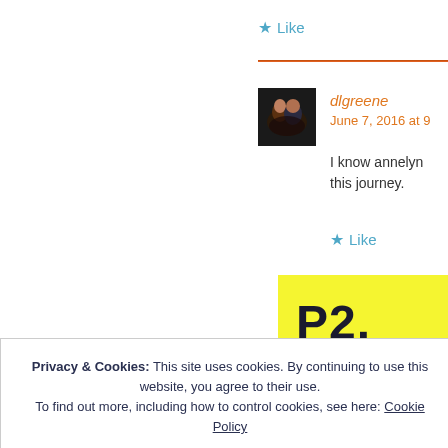★ Like
dlgreene
June 7, 2016 at 9
[Figure (photo): Profile photo of a couple, man and woman embracing, dark background]
I know annelyn... this journey.
★ Like
P2.
Po
Privacy & Cookies: This site uses cookies. By continuing to use this website, you agree to their use.
To find out more, including how to control cookies, see here: Cookie Policy
Close and accept